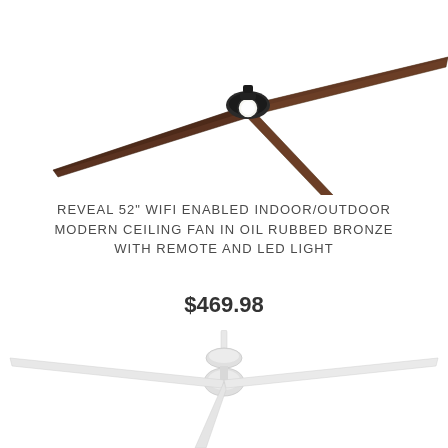[Figure (photo): A ceiling fan with three dark wood-tone blades and a central oil rubbed bronze motor housing with LED light, photographed from below at an angle against a white background.]
REVEAL 52" WIFI ENABLED INDOOR/OUTDOOR MODERN CEILING FAN IN OIL RUBBED BRONZE WITH REMOTE AND LED LIGHT
$469.98
[Figure (photo): A ceiling fan with three white blades and a white motor housing, photographed from below at an angle against a white background.]